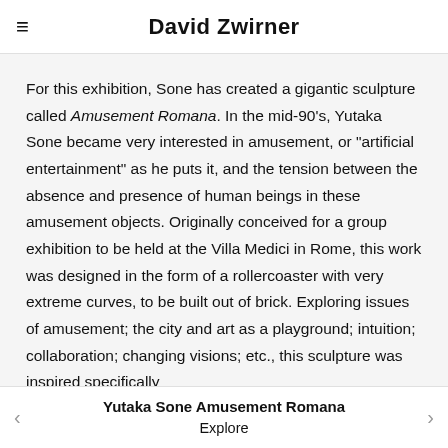David Zwirner
For this exhibition, Sone has created a gigantic sculpture called Amusement Romana. In the mid-90's, Yutaka Sone became very interested in amusement, or "artificial entertainment" as he puts it, and the tension between the absence and presence of human beings in these amusement objects. Originally conceived for a group exhibition to be held at the Villa Medici in Rome, this work was designed in the form of a rollercoaster with very extreme curves, to be built out of brick. Exploring issues of amusement; the city and art as a playground; intuition; collaboration; changing visions; etc., this sculpture was inspired specifically
Yutaka Sone Amusement Romana
Explore